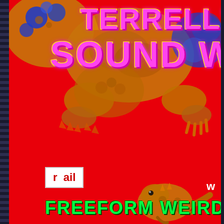TERRELL'S SOUND WORLD
[Figure (photo): Brightly colored lizard/gecko on red background, top large gecko with blue spots and yellow-orange body, plus smaller lizard at bottom center]
retail
FREEFORM WEIRDO R...